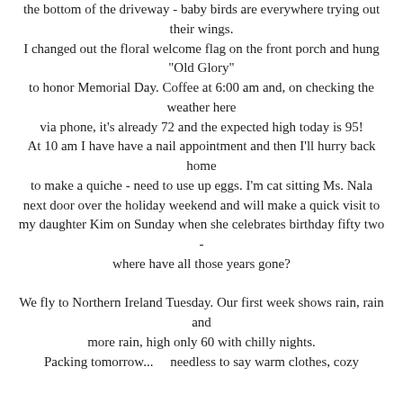the bottom of the driveway - baby birds are everywhere trying out their wings. I changed out the floral welcome flag on the front porch and hung "Old Glory" to honor Memorial Day. Coffee at 6:00 am and, on checking the weather here via phone, it's already 72 and the expected high today is 95! At 10 am I have have a nail appointment and then I'll hurry back home to make a quiche - need to use up eggs. I'm cat sitting Ms. Nala next door over the holiday weekend and will make a quick visit to my daughter Kim on Sunday when she celebrates birthday fifty two - where have all those years gone? We fly to Northern Ireland Tuesday. Our first week shows rain, rain and more rain, high only 60 with chilly nights. Packing tomorrow... needless to say warm clothes, cozy